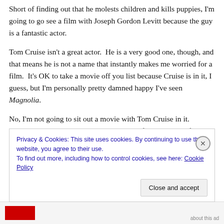Short of finding out that he molests children and kills puppies, I'm going to go see a film with Joseph Gordon Levitt because the guy is a fantastic actor.
Tom Cruise isn't a great actor.  He is a very good one, though, and that means he is not a name that instantly makes me worried for a film.  It's OK to take a movie off you list because Cruise is in it, I guess, but I'm personally pretty damned happy I've seen Magnolia.
No, I'm not going to sit out a movie with Tom Cruise in it.  Instead, I'm going to look at it and decide if it is the sort of
Privacy & Cookies: This site uses cookies. By continuing to use this website, you agree to their use.
To find out more, including how to control cookies, see here: Cookie Policy